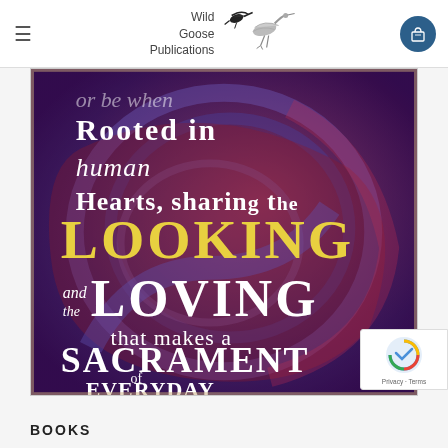Wild Goose Publications
[Figure (illustration): Calligraphic art on swirling blue/purple and red background with text: 'or be when rooted in human hearts, sharing the looking and loving the that makes a sacrament of everyday experience.']
BOOKS